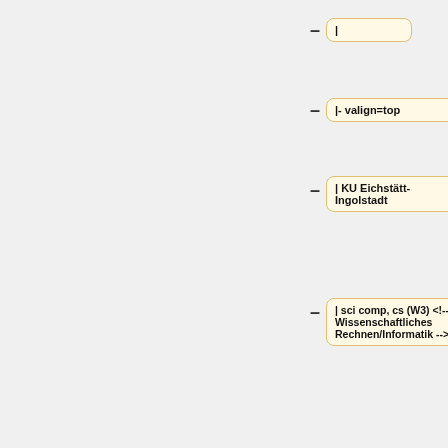|
|- valign=top
| KU Eichstätt-Ingolstadt
| sci comp, cs (W3) <!-- Wissenschaftliches Rechnen/Informatik -->
| Sep 26, 2011
|
|- valign=top
| KU Eichstätt-Ingolstadt
| algebra (W2)